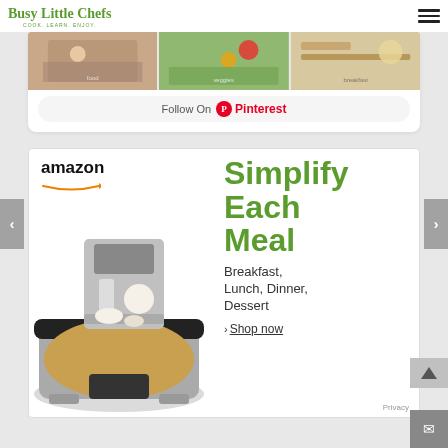Busy Little Chefs — COOK. LEARN. ENJOY.
[Figure (screenshot): Pinterest photo strip showing three food/cooking images]
Follow On Pinterest
[Figure (infographic): Amazon advertisement: Simplify Each Meal — Breakfast, Lunch, Dinner, Dessert — Shop now. Shows coffee maker and slow cooker.]
Privacy